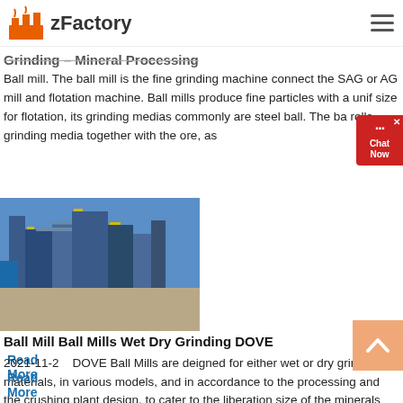zFactory
Grinding – Mineral Processing
Ball mill. The ball mill is the fine grinding machine connect the SAG or AG mill and flotation machine. Ball mills produce fine particles with a uniform size for flotation, its grinding medias commonly are steel ball. The ball rolls grinding media together with the ore, as
Read More
[Figure (photo): Industrial ball mill grinding facility with blue steel structure and equipment on a construction site under clear blue sky]
Ball Mill Ball Mills Wet Dry Grinding DOVE
2021-11-2   DOVE Ball Mills are deigned for either wet or dry grinding of materials, in various models, and in accordance to the processing and the crushing plant design, to cater to the liberation size of the minerals and the hardness of the ore. DOVE supplies two
Read More